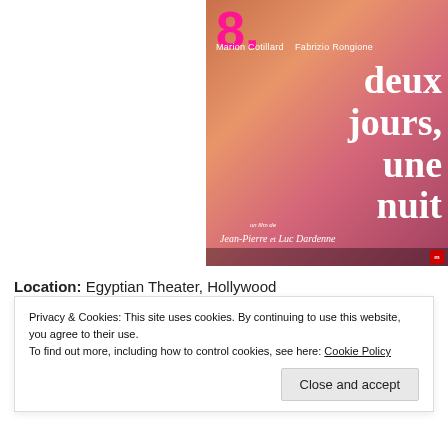[Figure (photo): Movie poster for 'deux jours, une nuit' numbered 8, directed by Jean-Pierre and Luc Dardenne, starring Marion Cotillard and Fabrizio Rongione. Poster shows a woman in a pink top with white text on a warm-toned background.]
Location: Egyptian Theater, Hollywood
Privacy & Cookies: This site uses cookies. By continuing to use this website, you agree to their use.
To find out more, including how to control cookies, see here: Cookie Policy
Close and accept